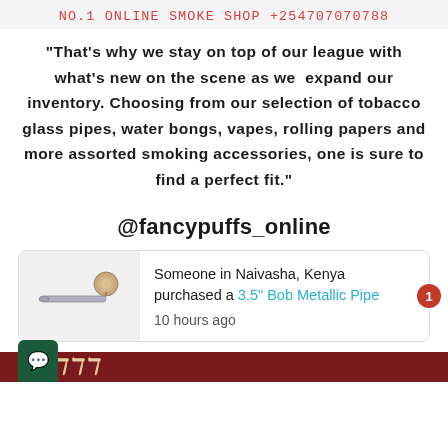NO.1 ONLINE SMOKE SHOP +254707070788
"That's why we stay on top of our league with what's new on the scene as we  expand our inventory. Choosing from our selection of tobacco glass pipes, water bongs, vapes, rolling papers and more assorted smoking accessories, one is sure to find a perfect fit."
@fancypuffs_online
Someone in Naivasha, Kenya purchased a 3.5" Bob Metallic Pipe
10 hours ago